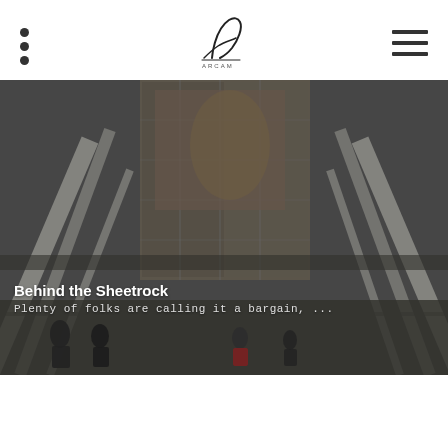Navigation header with logo, dots menu, and hamburger menu
[Figure (photo): Urban street scene with large modern building featuring glass facades and white structural beams/supports over a pedestrian walkway. People walking on the street below. Dark overlay applied.]
Behind the Sheetrock
Plenty of folks are calling it a bargain, ...